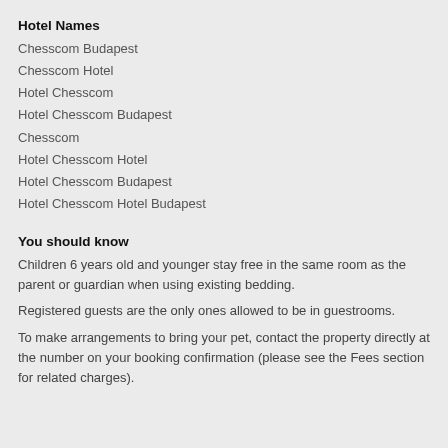Hotel Names
Chesscom Budapest
Chesscom Hotel
Hotel Chesscom
Hotel Chesscom Budapest
Chesscom
Hotel Chesscom Hotel
Hotel Chesscom Budapest
Hotel Chesscom Hotel Budapest
You should know
Children 6 years old and younger stay free in the same room as the parent or guardian when using existing bedding.
Registered guests are the only ones allowed to be in guestrooms.
To make arrangements to bring your pet, contact the property directly at the number on your booking confirmation (please see the Fees section for related charges).